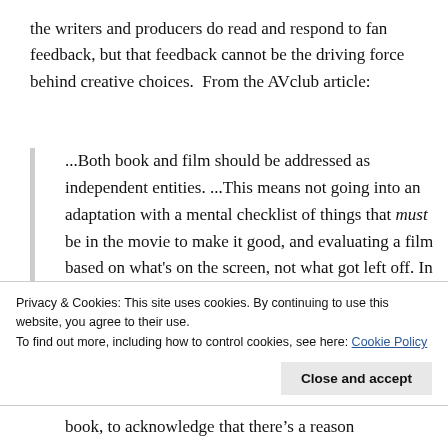the writers and producers do read and respond to fan feedback, but that feedback cannot be the driving force behind creative choices.  From the AVclub article:
...Both book and film should be addressed as independent entities. ...This means not going into an adaptation with a mental checklist of things that must be in the movie to make it good, and evaluating a film based on what's on the screen, not what got left off. In that sense, a “good adaptation” may have to involve a good-faith effort from the viewers, who participate in the process by giving that story a chance on its
Privacy & Cookies: This site uses cookies. By continuing to use this website, you agree to their use.
To find out more, including how to control cookies, see here: Cookie Policy
book, to acknowledge that there’s a reason